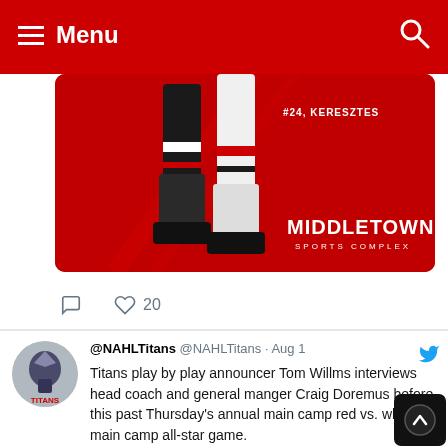Menu
[Figure (photo): Partial hockey player image showing legs/skates in uniform with #24 KERESZTES label, Middletown Sports Complex branding on red background]
20 (likes)
@NAHLTitans @NAHLTitans · Aug 1 — Titans play by play announcer Tom Willms interviews head coach and general manger Craig Doremus before this past Thursday's annual main camp red vs. white main camp all-star game. youtu.be/a2KqhYl3vgU
[Figure (screenshot): YouTube video preview card showing 2022 Main Camp Interview with Craig Doremus and ...]